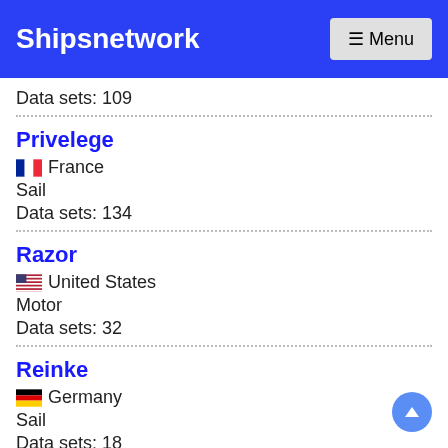Shipsnetwork
Data sets: 109
Privelege
France
Sail
Data sets: 134
Razor
United States
Motor
Data sets: 32
Reinke
Germany
Sail
Data sets: 18